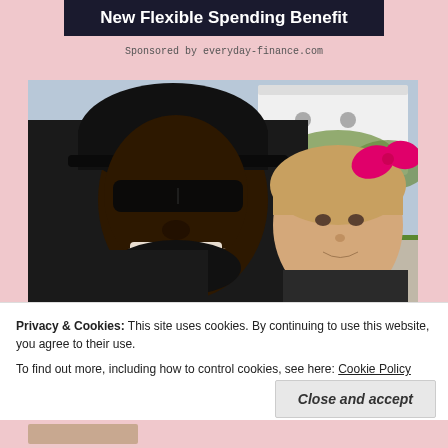New Flexible Spending Benefit
Sponsored by everyday-finance.com
[Figure (photo): A smiling man wearing a black cap and sunglasses posing with a young blonde girl who has a pink bow in her hair, outdoors near a white vehicle with green grass and trees in the background.]
Privacy & Cookies: This site uses cookies. By continuing to use this website, you agree to their use.
To find out more, including how to control cookies, see here: Cookie Policy
Close and accept